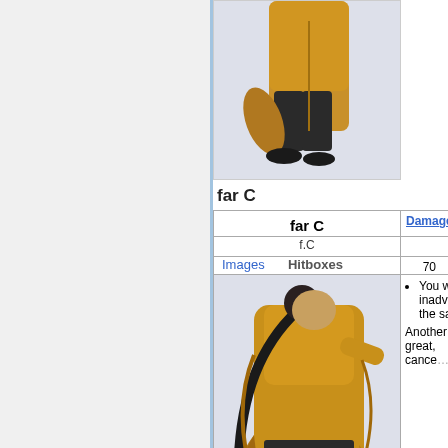[Figure (photo): Partial view of a character in yellow robe and black pants, seen from lower torso down to feet, standing pose - cropped from previous section]
far C
| far C | Damage | Guard | Ca... |
| --- | --- | --- | --- |
| f.C |  |  |  |
| Images | Hitboxes |  |  |  |
| [character image] | 70 | Mid | sp... |
You will inadver... the same.
Another great, cance...
far D
| far D | Damage | Guard | Ca... |
| --- | --- | --- | --- |